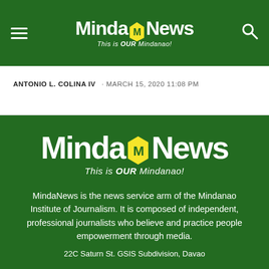MindaNews – This is OUR Mindanao!
ANTONIO L. COLINA IV · MARCH 15, 2020 11:08 PM
[Figure (logo): MindaNews logo – white and yellow text on dark green background, tagline: This is OUR Mindanao!]
MindaNews is the news service arm of the Mindanao Institute of Journalism. It is composed of independent, professional journalists who believe and practice people empowerment through media.
22C Saturn St. GSIS Subdivision, Davao